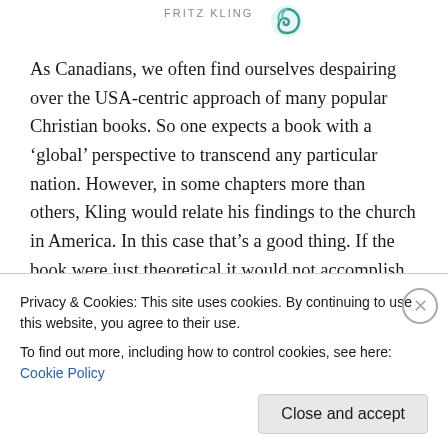[Figure (logo): Partial header with 'FRITZ KLING' text and a teal decorative logo/swirl icon on the right]
As Canadians, we often find ourselves despairing over the USA-centric approach of many popular Christian books. So one expects a book with a ‘global’ perspective to transcend any particular nation. However, in some chapters more than others, Kling would relate his findings to the church in America. In this case that’s a good thing. If the book were just theoretical it would not accomplish much. Some of the real value here — although it’s never truly spelled out in ‘macro versus micro’ terms — is the
Privacy & Cookies: This site uses cookies. By continuing to use this website, you agree to their use.
To find out more, including how to control cookies, see here: Cookie Policy